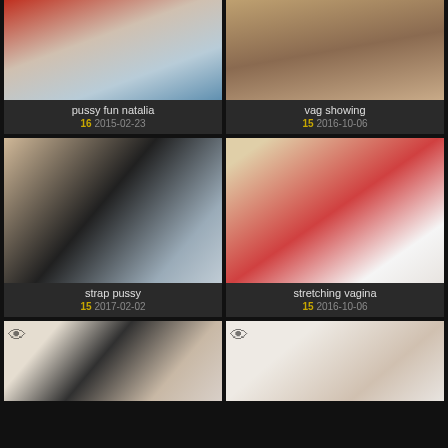[Figure (photo): Thumbnail image - pussy fun natalia]
pussy fun natalia
16 2015-02-23
[Figure (photo): Thumbnail image - vag showing]
vag showing
15 2016-10-06
[Figure (photo): Thumbnail image - strap pussy]
strap pussy
15 2017-02-02
[Figure (photo): Thumbnail image - stretching vagina]
stretching vagina
15 2016-10-06
[Figure (photo): Thumbnail image bottom left]
[Figure (photo): Thumbnail image bottom right]